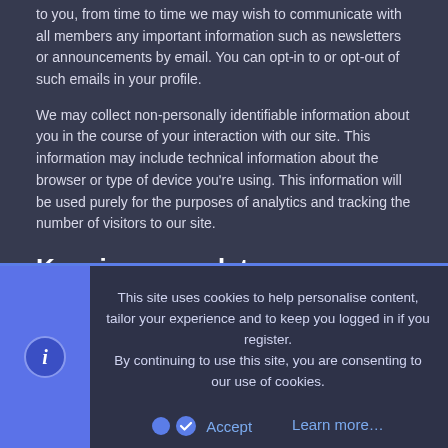to you, from time to time we may wish to communicate with all members any important information such as newsletters or announcements by email. You can opt-in to or opt-out of such emails in your profile.
We may collect non-personally identifiable information about you in the course of your interaction with our site. This information may include technical information about the browser or type of device you're using. This information will be used purely for the purposes of analytics and tracking the number of visitors to our site.
Keeping your data secure
We are committed to ensuring that any information you provide to us is secure. In order to prevent unauthorized access or disclosure, we have put in place suitable measures and procedures to safeguard and secure the information that we collect.
Cookie policy
This site uses cookies to help personalise content, tailor your experience and to keep you logged in if you register.
By continuing to use this site, you are consenting to our use of cookies.